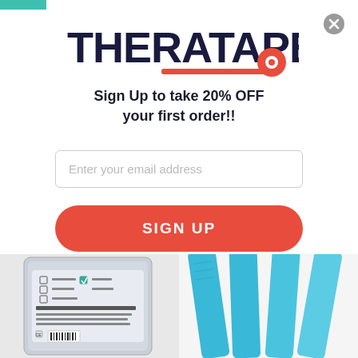[Figure (logo): THERATAPE logo in dark navy bold text with a red tape roll icon and red underline accent]
Sign Up to take 20% OFF your first order!!
[Figure (screenshot): Email input field with placeholder text 'Enter your email address' and a red SIGN UP button below]
[Figure (photo): Two product images: left shows a packaged Kinesiology tape product in clear/silver packaging; right shows four blue kinesiology tape strips fanned out]